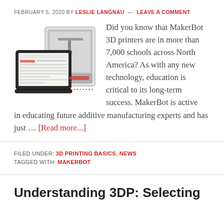FEBRUARY 5, 2020 BY LESLIE LANGNAU — LEAVE A COMMENT
[Figure (photo): MakerBot 3D printer and a laptop/tablet showing MakerBot software interface with dashed measurement lines]
Did you know that MakerBot 3D printers are in more than 7,000 schools across North America? As with any new technology, education is critical to its long-term success. MakerBot is active in educating future additive manufacturing experts and has just … [Read more...]
FILED UNDER: 3D PRINTING BASICS, NEWS
TAGGED WITH: MAKERBOT
Understanding 3DP: Selecting